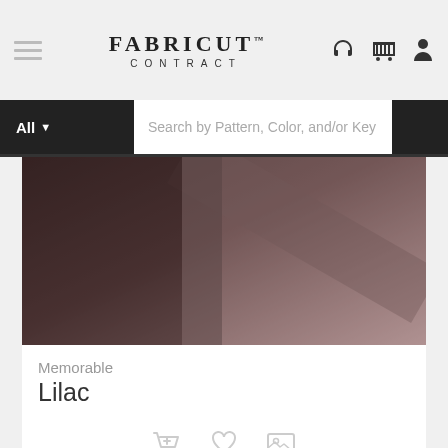FABRICUT CONTRACT
All ▼  Search by Pattern, Color, and/or Key
[Figure (photo): Close-up of leather fabric in dark mauve/lilac with visible grain texture, folded diagonally]
Memorable
Lilac
[Figure (photo): Partial view of a second fabric swatch in light grey/silver color]